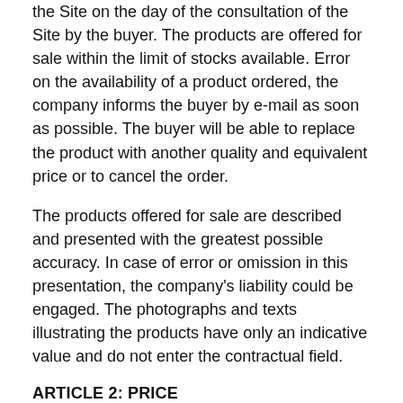the Site on the day of the consultation of the Site by the buyer. The products are offered for sale within the limit of stocks available. Error on the availability of a product ordered, the company informs the buyer by e-mail as soon as possible. The buyer will be able to replace the product with another quality and equivalent price or to cancel the order.
The products offered for sale are described and presented with the greatest possible accuracy. In case of error or omission in this presentation, the company's liability could be engaged. The photographs and texts illustrating the products have only an indicative value and do not enter the contractual field.
ARTICLE 2: PRICE
The prices displayed on the Site are indicated in euros inclusive of all taxes, including VAT, excluding participation in shipping costs and order processing costs.